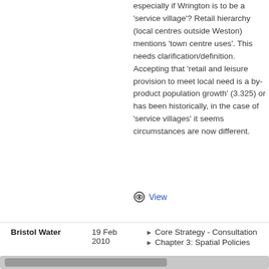especially if Wrington is to be a 'service village'? Retail hierarchy (local centres outside Weston) mentions 'town centre uses'. This needs clarification/definition. Accepting that 'retail and leisure provision to meet local need is a by-product population growth' (3.325) or has been historically, in the case of 'service villages' it seems circumstances are now different.
View
|  | Date | Documents |
| --- | --- | --- |
| Bristol Water | 19 Feb 2010 | Core Strategy - Consultation
Chapter 3: Spatial Policies |